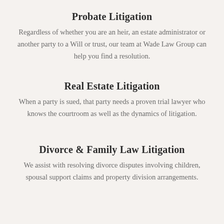Probate Litigation
Regardless of whether you are an heir, an estate administrator or another party to a Will or trust, our team at Wade Law Group can help you find a resolution.
Real Estate Litigation
When a party is sued, that party needs a proven trial lawyer who knows the courtroom as well as the dynamics of litigation.
Divorce & Family Law Litigation
We assist with resolving divorce disputes involving children, spousal support claims and property division arrangements.